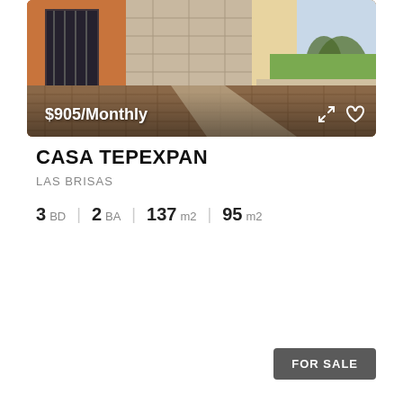[Figure (photo): Exterior photo of Casa Tepexpan property showing tiled courtyard with orange/terracotta building facade, stone walkway, and desert garden with cacti and green plants]
$905/Monthly
CASA TEPEXPAN
LAS BRISAS
3 BD | 2 BA | 137 m2 | 95 m2
FOR SALE